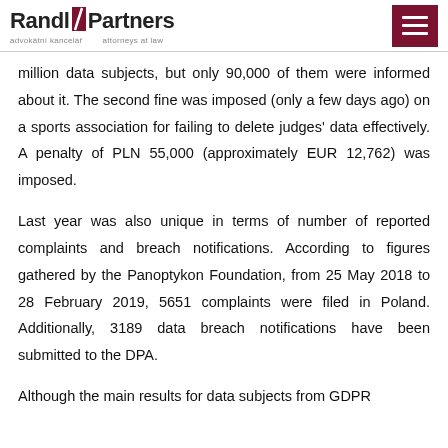Randl Partners | advokátní kancelář | attorneys at law
million data subjects, but only 90,000 of them were informed about it. The second fine was imposed (only a few days ago) on a sports association for failing to delete judges' data effectively. A penalty of PLN 55,000 (approximately EUR 12,762) was imposed.
Last year was also unique in terms of number of reported complaints and breach notifications. According to figures gathered by the Panoptykon Foundation, from 25 May 2018 to 28 February 2019, 5651 complaints were filed in Poland. Additionally, 3189 data breach notifications have been submitted to the DPA.
Although the main results for data subjects from GDPR...